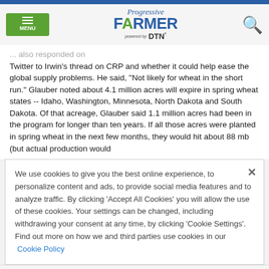Progressive FARMER powered by DTN
... also responded on Twitter to Irwin's thread on CRP and whether it could help ease the global supply problems. He said, "Not likely for wheat in the short run." Glauber noted about 4.1 million acres will expire in spring wheat states -- Idaho, Washington, Minnesota, North Dakota and South Dakota. Of that acreage, Glauber said 1.1 million acres had been in the program for longer than ten years. If all those acres were planted in spring wheat in the next few months, they would hit about 88 mb (but actual production would
We use cookies to give you the best online experience, to personalize content and ads, to provide social media features and to analyze traffic. By clicking 'Accept All Cookies' you will allow the use of these cookies. Your settings can be changed, including withdrawing your consent at any time, by clicking 'Cookie Settings'. Find out more on how we and third parties use cookies in our  Cookie Policy
Accept and Close ×
Your browser settings do not allow cross-site tracking for advertising. Click on this page to allow AdRoll to use cross-site tracking to tailor ads to you. Learn more or opt out of this AdRoll tracking by clicking here. This message only appears once.